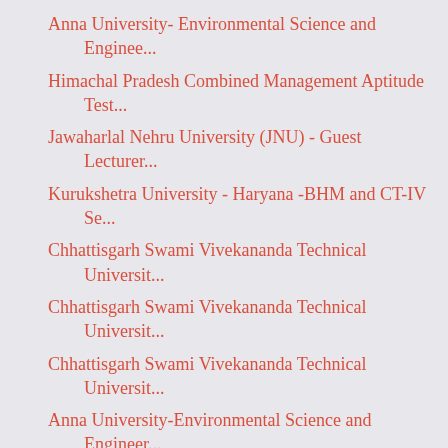Anna University- Environmental Science and Enginee...
Himachal Pradesh Combined Management Aptitude Test...
Jawaharlal Nehru University (JNU) - Guest Lecturer...
Kurukshetra University - Haryana -BHM and CT-IV Se...
Chhattisgarh Swami Vivekananda Technical Universit...
Chhattisgarh Swami Vivekananda Technical Universit...
Chhattisgarh Swami Vivekananda Technical Universit...
Anna University-Environmental Science and Engineer...